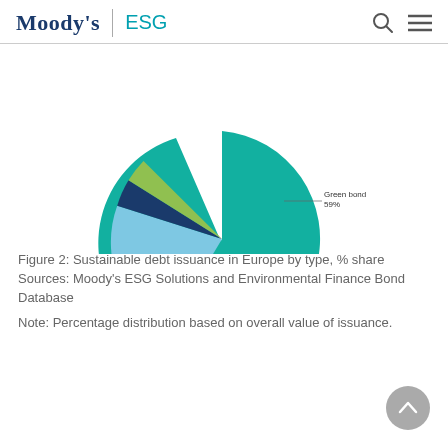Moody's ESG
[Figure (pie-chart): Sustainable debt issuance in Europe by type, % share]
Figure 2: Sustainable debt issuance in Europe by type, % share
Sources: Moody's ESG Solutions and Environmental Finance Bond Database
Note: Percentage distribution based on overall value of issuance.